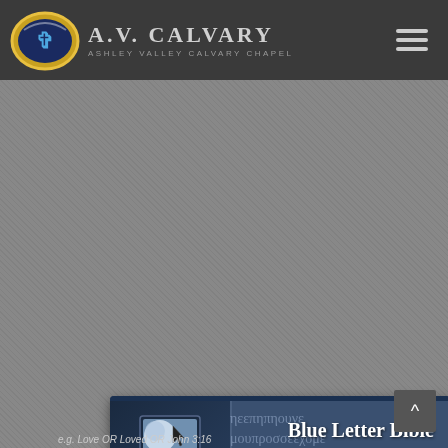[Figure (logo): Ashley Valley Calvary Chapel header with logo (oval with cross design), text 'A.V. CALVARY' and 'ASHLEY VALLEY CALVARY CHAPEL', and hamburger menu icon]
[Figure (screenshot): Blue Letter Bible widget embedded on page, showing book/computer icon, title 'Blue Letter Bible', Greek text watermark background, search field labeled 'Verse or Keyword:', NLT version dropdown, and Search button]
e.g. Love OR Loved OR John 3:16